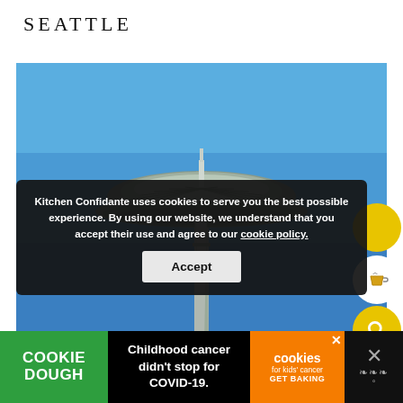SEATTLE
[Figure (photo): Close-up photograph of the top of the Seattle Space Needle against a clear blue sky, showing the iconic saucer-shaped observation deck with its radial spoke structure.]
Kitchen Confidante uses cookies to serve you the best possible experience. By using our website, we understand that you accept their use and agree to our cookie policy.
[Figure (infographic): Bottom advertisement banner: Cookie Dough green logo on left, 'Childhood cancer didn't stop for COVID-19.' text in center, 'cookies for kids' cancer GET BAKING' orange panel on right, close button and weather widget on far right.]